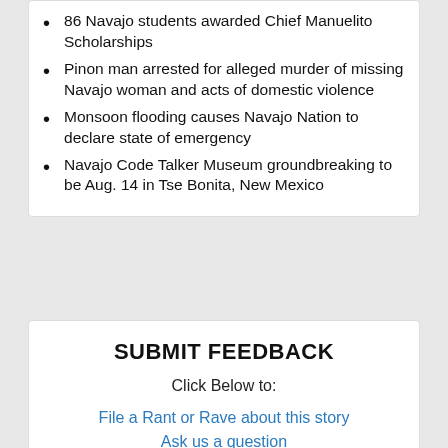86 Navajo students awarded Chief Manuelito Scholarships
Pinon man arrested for alleged murder of missing Navajo woman and acts of domestic violence
Monsoon flooding causes Navajo Nation to declare state of emergency
Navajo Code Talker Museum groundbreaking to be Aug. 14 in Tse Bonita, New Mexico
SUBMIT FEEDBACK
Click Below to:
File a Rant or Rave about this story
Ask us a question
Submit a letter to the editor